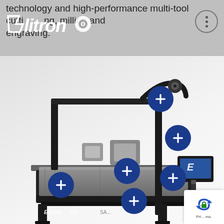technology and high-performance multi-tool cutting and routing, milling and engraving.
[Figure (photo): Interactive product image of an Elitron high-performance multi-tool cutting machine (flatbed cutter/router/engraver) with six blue circular plus-button hotspots overlaid on various components. A control station with monitor is visible on the right side. The Elitron logo appears in the header bar and on the machine base.]